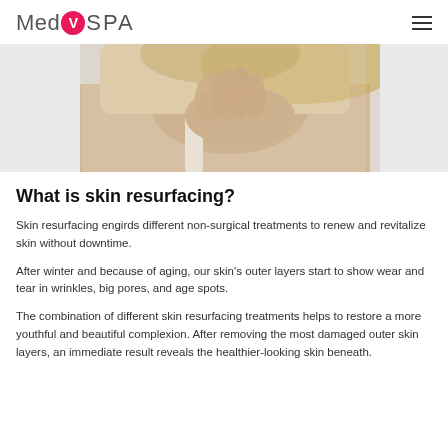MedVSPA
[Figure (photo): A blonde woman in a white tank top touching her face/neck, photographed against a light background.]
What is skin resurfacing?
Skin resurfacing engirds different non-surgical treatments to renew and revitalize skin without downtime.
After winter and because of aging, our skin's outer layers start to show wear and tear in wrinkles, big pores, and age spots.
The combination of different skin resurfacing treatments helps to restore a more youthful and beautiful complexion. After removing the most damaged outer skin layers, an immediate result reveals the healthier-looking skin beneath.